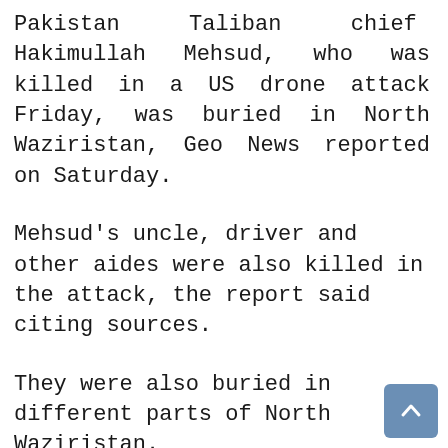Pakistan Taliban chief Hakimullah Mehsud, who was killed in a US drone attack Friday, was buried in North Waziristan, Geo News reported on Saturday.
Mehsud's uncle, driver and other aides were also killed in the attack, the report said citing sources.
They were also buried in different parts of North Waziristan.
Tehreek-e-Taliban Pakistan's (TTP) Markazi Majlis e Shoora (Central Advisory